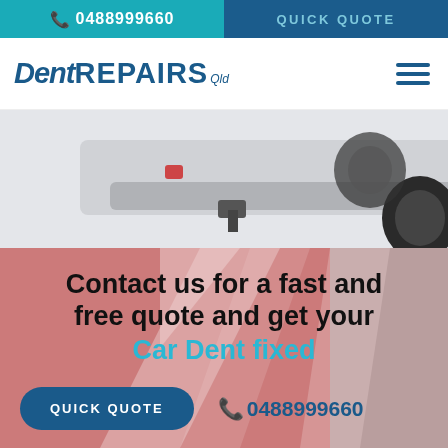📞 0488999660 | QUICK QUOTE
[Figure (logo): Dent Repairs Qld logo with hamburger menu icon]
[Figure (photo): Rear view of a 4WD/SUV vehicle with tow hitch on a light grey background]
[Figure (photo): Close-up of a red car door with dent/damage and light reflection]
Contact us for a fast and free quote and get your Car Dent fixed
QUICK QUOTE  📞0488999660